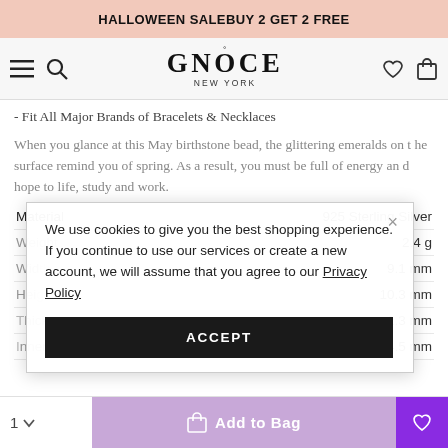HALLOWEEN SALE | BUY 2 GET 2 FREE
[Figure (logo): GNOCE NEW YORK logo with hamburger menu, search, heart, and bag icons]
- Fit All Major Brands of Bracelets & Necklaces
When you glance at this May birthstone bead, the glittering emeralds on the surface remind you of spring. As a result, you must be full of energy and hope to life, study and work.
|  |  |
| --- | --- |
| Material | 925 Sterling Silver |
| Weight | 2.4 g |
| Width | 9.1 mm |
| Height | 10.3 mm |
| Thickness | 1.3 mm |
| Inner Diameter | 4.5 mm |
We use cookies to give you the best shopping experience. If you continue to use our services or create a new account, we will assume that you agree to our Privacy Policy
ACCEPT
1  ∨  Add to Bag